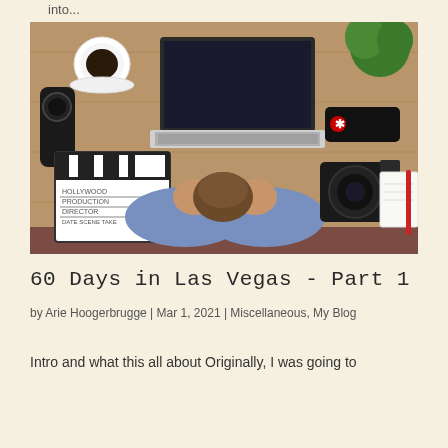into...
[Figure (photo): Overhead view of a stressed person sitting at a wooden desk with their head in their hands, surrounded by a laptop, coffee cup, camera lens, clapperboard, DSLR camera, notepad with pen, plant, and black pouch]
60 Days in Las Vegas - Part 1
by Arie Hoogerbrugge | Mar 1, 2021 | Miscellaneous, My Blog
Intro and what this all about Originally, I was going to